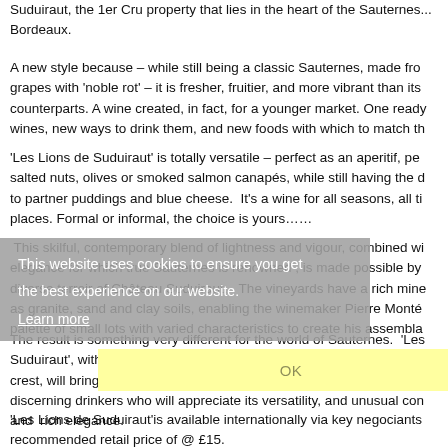Suduiraut, the 1er Cru property that lies in the heart of the Sauternes... Bordeaux.
A new style because – while still being a classic Sauternes, made from grapes with 'noble rot' – it is fresher, fruitier, and more vibrant than its counterparts. A wine created, in fact, for a younger market. One ready wines, new ways to drink them, and new foods with which to match th...
'Les Lions de Suduiraut' is totally versatile – perfect as an aperitif, per salted nuts, olives or smoked salmon canapés, while still having the d to partner puddings and blue cheese.  It's a wine for all seasons, all ti places. Formal or informal, the choice is yours……
This skilful, contemporary blend of lightness and vigour, combined wi elegance for which true Sauternes is renowned , is made possible by diverse terroir of Château Suduiraut.   The vineyards have a rich mine as granite, sand and clay soils, enabling the winemaker Pierre Monté palette of small lots with varied characteristics to create his assembla...
This website uses cookies to ensure you get the best experience on our website.
Learn more
The result is something very different for the world of Sauternes.  'Les Suduiraut', with its dramatic  gold label featuring the rampant lions of crest, will bring new, younger drinkers to this famous style of wine – a discerning drinkers who will appreciate its versatility, and unusual con and  rich elegance.
'Les Lions de Suduiraut'is available internationally via key negociants recommended retail price of @ £15.